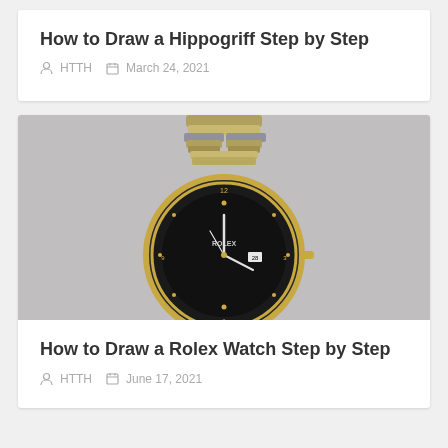How to Draw a Hippogriff Step by Step
HTTH   March 24, 2021
[Figure (photo): A Rolex watch with gold and silver bracelet and black dial, photographed against a light gray background]
How to Draw a Rolex Watch Step by Step
HTTH   June 17, 2021